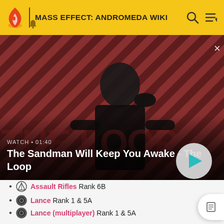MASS EFFECT: ANDROMEDA WIKI
[Figure (screenshot): Video thumbnail for 'The Sandman Will Keep You Awake - The Loop' showing a dark figure with a raven on their shoulder against a red diagonal striped background. Duration shown: 01:40.]
Assault Rifles Rank 6B
Lance Rank 1 & 5A
Lance (multiplayer) Rank 1 & 5A
Munitions Training Rank 6B
Pistols Rank 6B